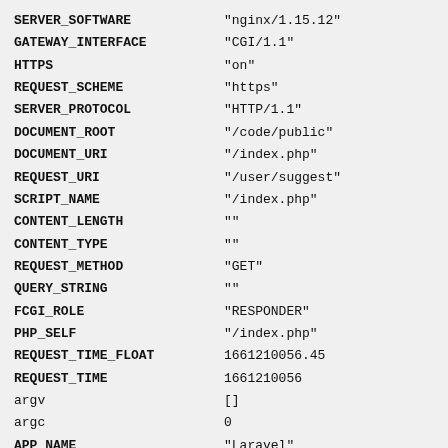| Key | Value |
| --- | --- |
| SERVER_SOFTWARE | "nginx/1.15.12" |
| GATEWAY_INTERFACE | "CGI/1.1" |
| HTTPS | "on" |
| REQUEST_SCHEME | "https" |
| SERVER_PROTOCOL | "HTTP/1.1" |
| DOCUMENT_ROOT | "/code/public" |
| DOCUMENT_URI | "/index.php" |
| REQUEST_URI | "/user/suggest" |
| SCRIPT_NAME | "/index.php" |
| CONTENT_LENGTH | "" |
| CONTENT_TYPE | "" |
| REQUEST_METHOD | "GET" |
| QUERY_STRING | "" |
| FCGI_ROLE | "RESPONDER" |
| PHP_SELF | "/index.php" |
| REQUEST_TIME_FLOAT | 1661210056.45 |
| REQUEST_TIME | 1661210056 |
| argv | [] |
| argc | 0 |
| APP_NAME | "Laravel" |
| APP_ENV | "local" |
| APP_KEY | "base64:YgheXy2p2csSNsS4s4L..." |
| APP_DEBUG | "true" |
| APP_URL | "http://vekoclubfront.testo..." |